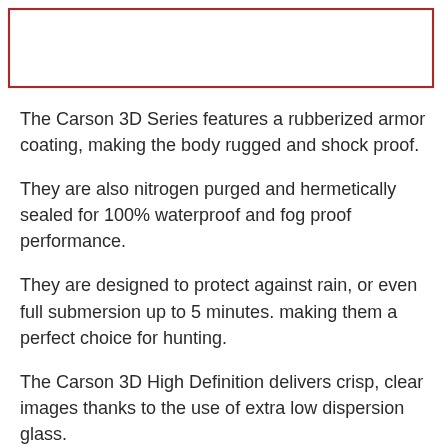[Figure (other): Red bordered empty rectangle at the top of the page]
The Carson 3D Series features a rubberized armor coating, making the body rugged and shock proof.
They are also nitrogen purged and hermetically sealed for 100% waterproof and fog proof performance.
They are designed to protect against rain, or even full submersion up to 5 minutes. making them a perfect choice for hunting.
The Carson 3D High Definition delivers crisp, clear images thanks to the use of extra low dispersion glass.